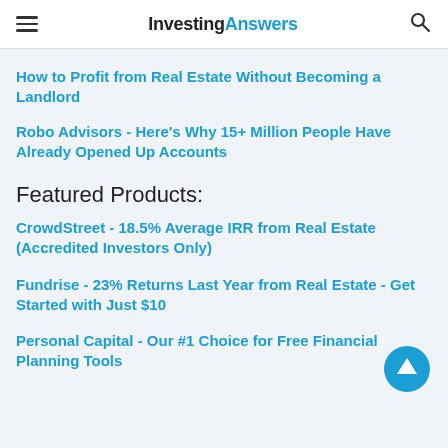InvestingAnswers
How to Profit from Real Estate Without Becoming a Landlord
Robo Advisors - Here's Why 15+ Million People Have Already Opened Up Accounts
Featured Products:
CrowdStreet - 18.5% Average IRR from Real Estate (Accredited Investors Only)
Fundrise - 23% Returns Last Year from Real Estate - Get Started with Just $10
Personal Capital - Our #1 Choice for Free Financial Planning Tools